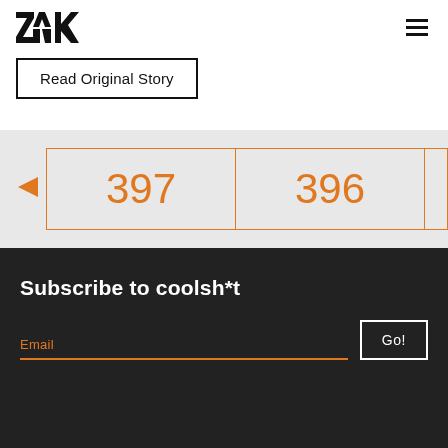[Figure (logo): ZAK brand logo in black geometric letterforms]
[Figure (other): Hamburger menu icon (three horizontal lines)]
Read Original Story
[Figure (other): Pagination strip on light gray background showing left arrow and page numbers 397 and 396 in orange, with a partially visible third box]
Subscribe to coolsh*t
Email
Go!